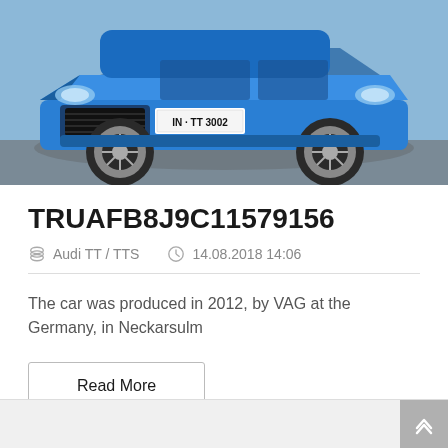[Figure (photo): Blue Audi TT/TTS sports car front view with license plate IN TT 3002]
TRUAFB8J9C11579156
Audi TT / TTS   14.08.2018 14:06
The car was produced in 2012, by VAG at the Germany, in Neckarsulm
Read More